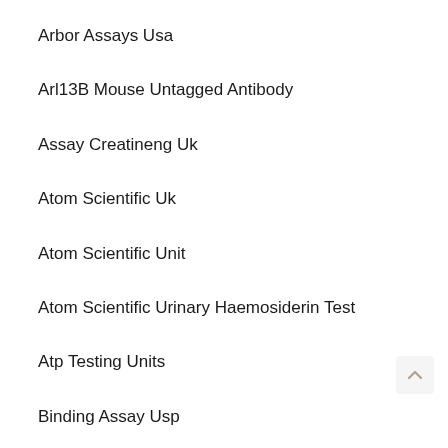Arbor Assays Usa
Arl13B Mouse Untagged Antibody
Assay Creatineng Uk
Atom Scientific Uk
Atom Scientific Unit
Atom Scientific Urinary Haemosiderin Test
Atp Testing Units
Binding Assay Usp
Bioassay Systems United States
Bioassay Systems Urea Assay Kit